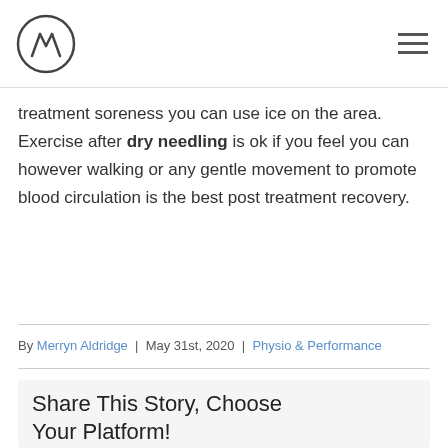[Logo: stylized M in circle] [Hamburger menu]
treatment soreness you can use ice on the area. Exercise after dry needling is ok if you feel you can however walking or any gentle movement to promote blood circulation is the best post treatment recovery.
By Merryn Aldridge | May 31st, 2020 | Physio & Performance
Share This Story, Choose Your Platform!
[Figure (infographic): Social media share icons: Facebook, Twitter, LinkedIn, Reddit, WhatsApp, Tumblr, Pinterest, VK, Email]